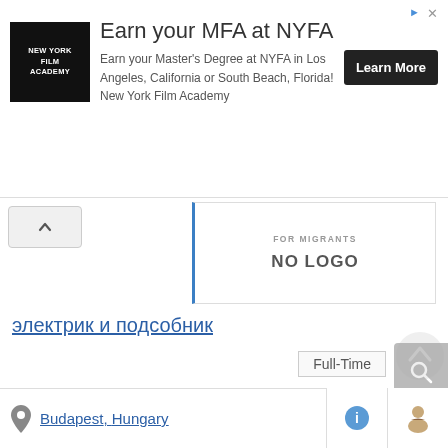[Figure (infographic): Advertisement banner for New York Film Academy (NYFA). Contains NYFA logo (black square with white text), headline 'Earn your MFA at NYFA', descriptive text, and a 'Learn More' button.]
[Figure (logo): Company logo placeholder box with 'FOR MIGRANTS' text and 'NO LOGO' label, with blue left border.]
электрик и подсобник
Full-Time
Vacancies from the Field: Energy
Salary: € by agreement - Per Hour
2 Vacancies
Posted: 75 Days Ago
Hits: 191
Budapest, Hungary